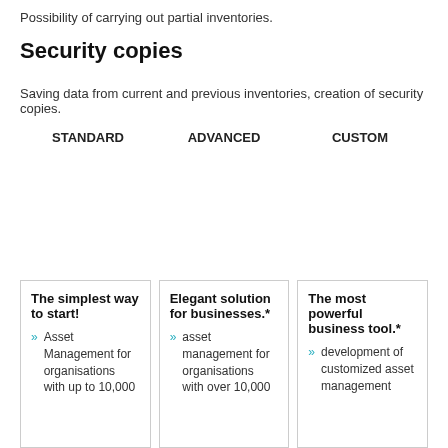Possibility of carrying out partial inventories.
Security copies
Saving data from current and previous inventories, creation of security copies.
| STANDARD | ADVANCED | CUSTOM |
| --- | --- | --- |
The simplest way to start!
Asset Management for organisations with up to 10,000
Elegant solution for businesses.*
asset management for organisations with over 10,000
The most powerful business tool.*
development of customized asset management